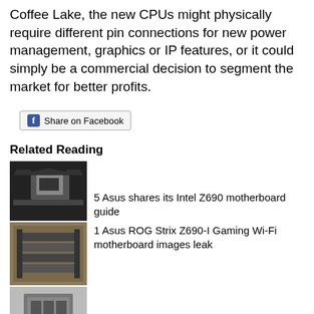Coffee Lake, the new CPUs might physically require different pin connections for new power management, graphics or IP features, or it could simply be a commercial decision to segment the market for better profits.
[Figure (other): Share on Facebook button with Facebook logo icon]
Related Reading
[Figure (photo): Motherboard photo - ASUS Intel Z690 motherboard]
5 Asus shares its Intel Z690 motherboard guide
[Figure (photo): Motherboard photo - Asus ROG Strix Z690-I Gaming Wi-Fi]
1 Asus ROG Strix Z690-I Gaming Wi-Fi motherboard images leak
[Figure (photo): GPU power connector photo - 12VHPWR 600W connector]
21 Diagrams of 12VHPWR 600W connectors for GPUs spotted
MSI MPG X570S Carbon Max WiFi EVGA launches its X570 Dark motherboard Intel XeSS demonstrated in Hitman 3 and The Riftbreaker Dell updates XPS and Alienware desktops with Alder Lake CPUs More Intel 12th Gen Core performance numbers emerge